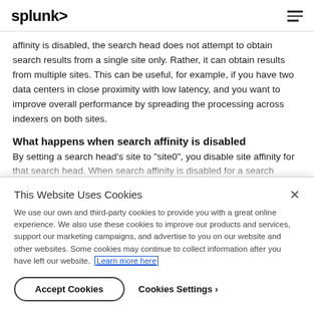splunk>
affinity is disabled, the search head does not attempt to obtain search results from a single site only. Rather, it can obtain results from multiple sites. This can be useful, for example, if you have two data centers in close proximity with low latency, and you want to improve overall performance by spreading the processing across indexers on both sites.
What happens when search affinity is disabled
By setting a search head's site to "site0", you disable site affinity for that search head. When search affinity is disabled for a search head...
This Website Uses Cookies
We use our own and third-party cookies to provide you with a great online experience. We also use these cookies to improve our products and services, support our marketing campaigns, and advertise to you on our website and other websites. Some cookies may continue to collect information after you have left our website. Learn more here
Accept Cookies
Cookies Settings >